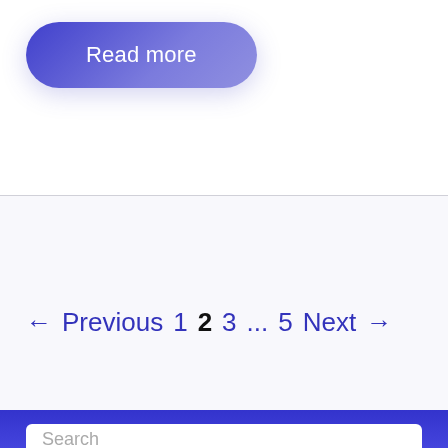[Figure (other): A rounded pill-shaped button with a blue-to-light-blue gradient reading 'Read more' in white text]
← Previous  1  2  3  ...  5  Next →
[Figure (other): A dark blue footer bar with a white search box partially visible, containing placeholder text 'Search']